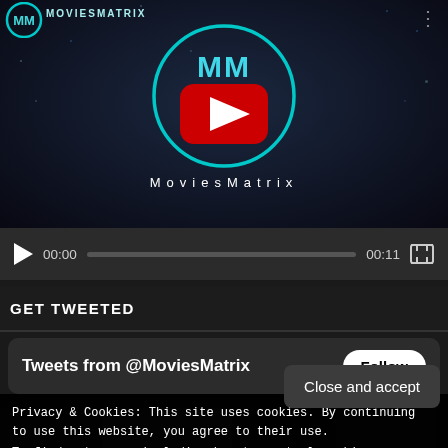[Figure (screenshot): MoviesMatrix YouTube channel video thumbnail with logo circle (teal ring with MM letters and YouTube play button), dark starry background]
MoviesMatrix
[Figure (screenshot): Video player controls bar: play button, 00:00 timestamp, progress bar, 00:11 duration, fullscreen button]
GET TWEETED
[Figure (screenshot): Tweets from @MoviesMatrix widget box with Follow button]
Privacy & Cookies: This site uses cookies. By continuing to use this website, you agree to their use.
To find out more, including how to control cookies, see here:
Cookie Policy
Close and accept